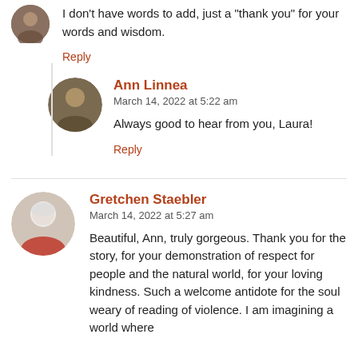I don’t have words to add, just a “thank you” for your words and wisdom.
Reply
Ann Linnea
March 14, 2022 at 5:22 am
Always good to hear from you, Laura!
Reply
Gretchen Staebler
March 14, 2022 at 5:27 am
Beautiful, Ann, truly gorgeous. Thank you for the story, for your demonstration of respect for people and the natural world, for your loving kindness. Such a welcome antidote for the soul weary of reading of violence. I am imagining a world where